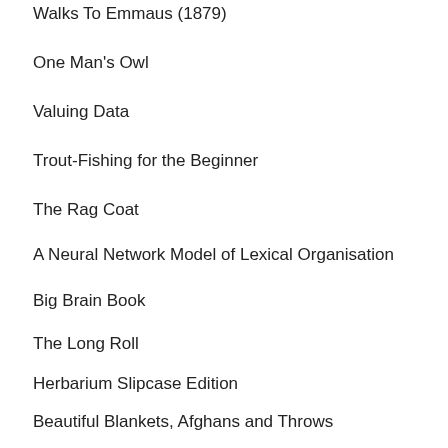Walks To Emmaus (1879)
One Man's Owl
Valuing Data
Trout-Fishing for the Beginner
The Rag Coat
A Neural Network Model of Lexical Organisation
Big Brain Book
The Long Roll
Herbarium Slipcase Edition
Beautiful Blankets, Afghans and Throws
The Citizen Audience
Twinkle, Twinkle, Little Star